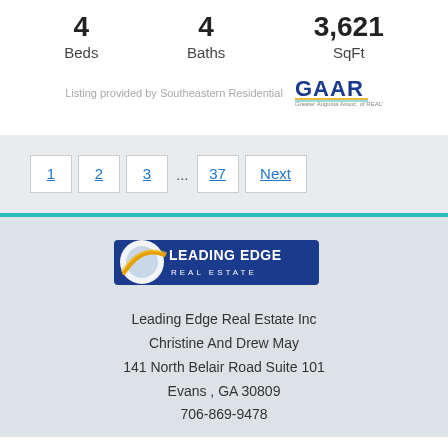4 Beds   4 Baths   3,621 SqFt
Listing provided by Southeastern Residential
[Figure (logo): GAAR logo - Greater Albuquerque Association of Realtors]
1  2  3  ...  37  Next
[Figure (logo): Leading Edge Real Estate logo - circular globe graphic with text LEADING EDGE REAL ESTATE]
Leading Edge Real Estate Inc
Christine And Drew May
141 North Belair Road Suite 101
Evans , GA 30809
706-869-9478